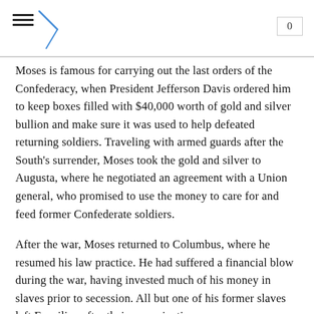0
Moses is famous for carrying out the last orders of the Confederacy, when President Jefferson Davis ordered him to keep boxes filled with $40,000 worth of gold and silver bullion and make sure it was used to help defeated returning soldiers. Traveling with armed guards after the South's surrender, Moses took the gold and silver to Augusta, where he negotiated an agreement with a Union general, who promised to use the money to care for and feed former Confederate soldiers.
After the war, Moses returned to Columbus, where he resumed his law practice. He had suffered a financial blow during the war, having invested much of his money in slaves prior to secession. All but one of his former slaves left Esquiline after their emancipation.